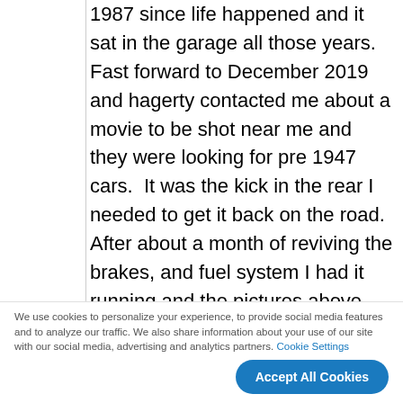1987 since life happened and it sat in the garage all those years.  Fast forward to December 2019 and hagerty contacted me about a movie to be shot near me and they were looking for pre 1947 cars.  It was the kick in the rear I needed to get it back on the road.  After about a month of reviving the brakes, and fuel system I had it running and the pictures above are from when I was at the movie set.  Now I have many other
We use cookies to personalize your experience, to provide social media features and to analyze our traffic. We also share information about your use of our site with our social media, advertising and analytics partners. Cookie Settings
Accept All Cookies